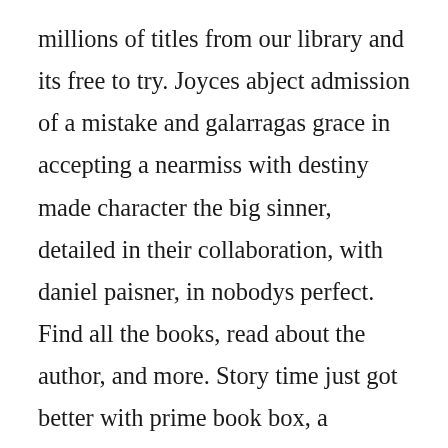millions of titles from our library and its free to try. Joyces abject admission of a mistake and galarragas grace in accepting a nearmiss with destiny made character the big sinner, detailed in their collaboration, with daniel paisner, in nobodys perfect. Find all the books, read about the author, and more. Story time just got better with prime book box, a subscription that delivers editorially handpicked childrens books every 1, 2, or 3. Two men, one call, and a game for baseball history. Enjoy reading 257 pages by starting